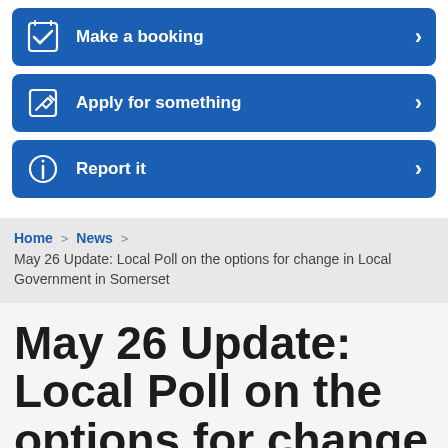Make a booking
Apply for something
Report it
Home > News > May 26 Update: Local Poll on the options for change in Local Government in Somerset
May 26 Update: Local Poll on the options for change in Local